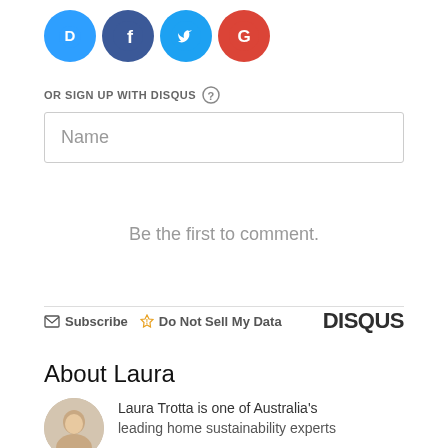[Figure (other): Social login icons: Disqus (blue D), Facebook (dark blue f), Twitter (light blue bird), Google (red G)]
OR SIGN UP WITH DISQUS ?
[Figure (other): Name text input field]
Be the first to comment.
Subscribe  Do Not Sell My Data  DISQUS
About Laura
Laura Trotta is one of Australia's leading home sustainability experts